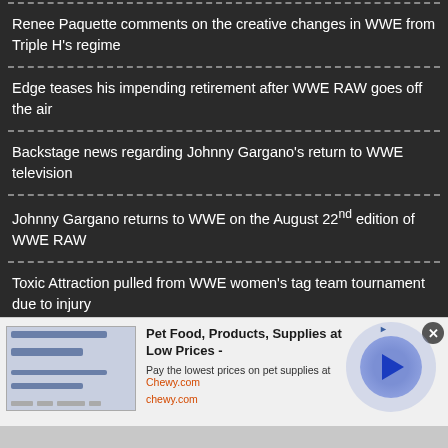Renee Paquette comments on the creative changes in WWE from Triple H's regime
Edge teases his impending retirement after WWE RAW goes off the air
Backstage news regarding Johnny Gargano's return to WWE television
Johnny Gargano returns to WWE on the August 22nd edition of WWE RAW
Toxic Attraction pulled from WWE women's tag team tournament due to injury
[Figure (screenshot): Advertisement banner for Chewy.com pet food and supplies with play button and close button]